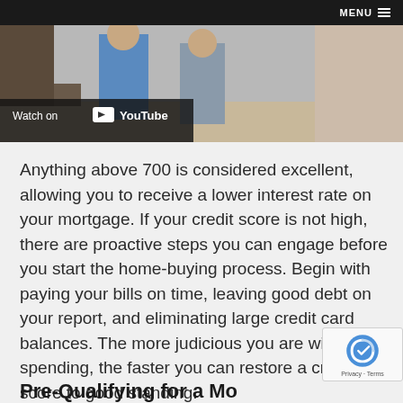MENU
[Figure (screenshot): YouTube video thumbnail showing two people standing, with a 'Watch on YouTube' overlay button at the bottom left]
Anything above 700 is considered excellent, allowing you to receive a lower interest rate on your mortgage. If your credit score is not high, there are proactive steps you can engage before you start the home-buying process. Begin with paying your bills on time, leaving good debt on your report, and eliminating large credit card balances. The more judicious you are with your spending, the faster you can restore a credit score to good standing.
Pre-Qualifying for a Mortgage